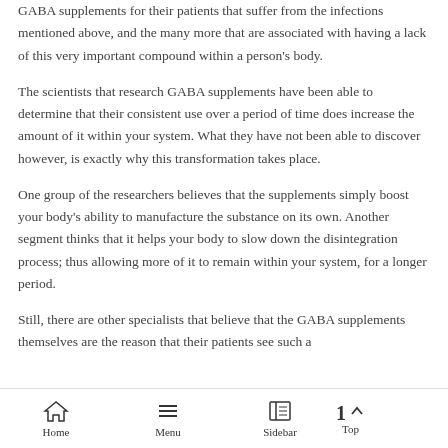GABA supplements for their patients that suffer from the infections mentioned above, and the many more that are associated with having a lack of this very important compound within a person's body.
The scientists that research GABA supplements have been able to determine that their consistent use over a period of time does increase the amount of it within your system. What they have not been able to discover however, is exactly why this transformation takes place.
One group of the researchers believes that the supplements simply boost your body's ability to manufacture the substance on its own. Another segment thinks that it helps your body to slow down the disintegration process; thus allowing more of it to remain within your system, for a longer period.
Still, there are other specialists that believe that the GABA supplements themselves are the reason that their patients see such a
Home  Menu  Sidebar  Top